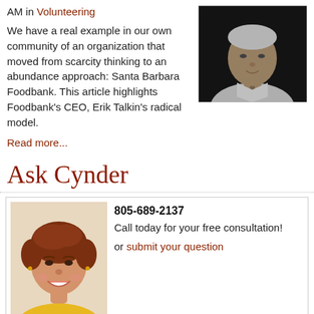AM in Volunteering
We have a real example in our own community of an organization that moved from scarcity thinking to an abundance approach: Santa Barbara Foodbank. This article highlights Foodbank's CEO, Erik Talkin's radical model.
[Figure (photo): Black and white photo of an older man in a white shirt and tie, looking to the side]
Read more...
Ask Cynder
[Figure (photo): Portrait photo of a woman with short red-brown hair, smiling, wearing a yellow top]
805-689-2137
Call today for your free consultation!
or submit your question